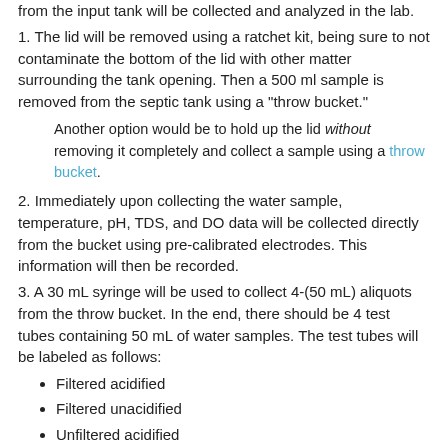from the input tank will be collected and analyzed in the lab.
1. The lid will be removed using a ratchet kit, being sure to not contaminate the bottom of the lid with other matter surrounding the tank opening. Then a 500 ml sample is removed from the septic tank using a "throw bucket."
Another option would be to hold up the lid without removing it completely and collect a sample using a throw bucket.
2. Immediately upon collecting the water sample, temperature, pH, TDS, and DO data will be collected directly from the bucket using pre-calibrated electrodes. This information will then be recorded.
3. A 30 mL syringe will be used to collect 4-(50 mL) aliquots from the throw bucket. In the end, there should be 4 test tubes containing 50 mL of water samples. The test tubes will be labeled as follows:
Filtered acidified
Filtered unacidified
Unfiltered acidified
Unfiltered unacidified